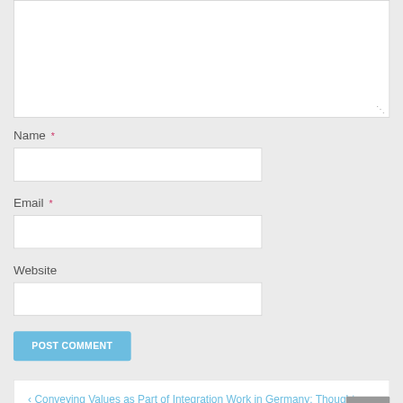[Figure (screenshot): Partial textarea input box (top portion cut off) with resize handle at bottom right]
Name *
[Figure (screenshot): Empty text input field for Name]
Email *
[Figure (screenshot): Empty text input field for Email]
Website
[Figure (screenshot): Empty text input field for Website]
POST COMMENT
< Conveying Values as Part of Integration Work in Germany: Thoughts on Starting Fieldwork